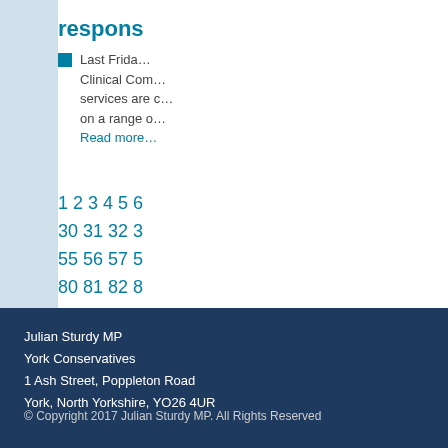respons…
Last Frida… Clinical Com… services are c… on a range o… Read more…
1 2 3 4 5 6… 30 31 32 3… 55 56 57 5… 80 81 82 8…
Julian Sturdy MP
York Conservatives
1 Ash Street, Poppleton Road
York, North Yorkshire, YO26 4UR

© Copyright 2017 Julian Sturdy MP. All Rights Reserved